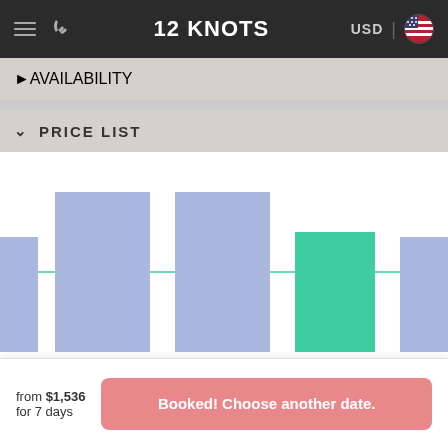12 KNOTS  USD
> AVAILABILITY
v PRICE LIST
[Figure (bar-chart): Price List]
> REVIEWS
v MAP
from $1,536 for 7 days
Booked! Choose another date.